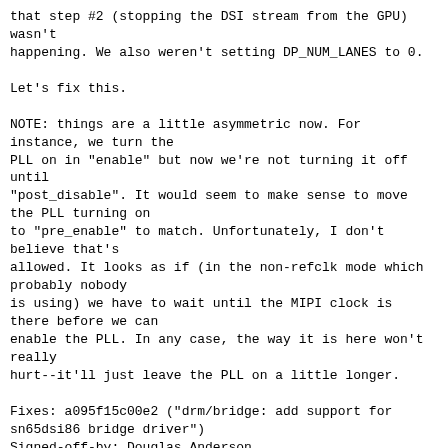that step #2 (stopping the DSI stream from the GPU) wasn't
happening. We also weren't setting DP_NUM_LANES to 0.

Let's fix this.

NOTE: things are a little asymmetric now. For instance, we turn the
PLL on in "enable" but now we're not turning it off until
"post_disable". It would seem to make sense to move the PLL turning on
to "pre_enable" to match. Unfortunately, I don't believe that's
allowed. It looks as if (in the non-refclk mode which probably nobody
is using) we have to wait until the MIPI clock is there before we can
enable the PLL. In any case, the way it is here won't really
hurt--it'll just leave the PLL on a little longer.

Fixes: a095f15c00e2 ("drm/bridge: add support for sn65dsi86 bridge driver")
Signed-off-by: Douglas Anderson <dianders@chromium.org>
---

drivers/gpu/drm/bridge/ti-sn65dsi86.c | 11 +++++++----
1 file changed, 7 insertions(+), 4 deletions(-)